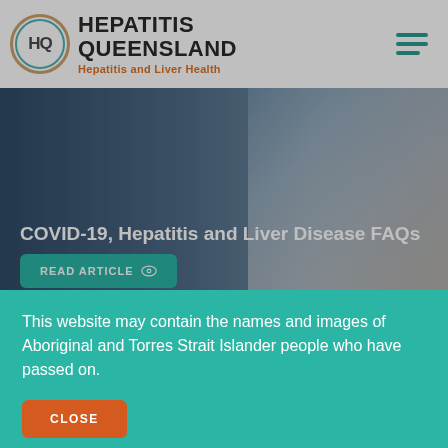[Figure (logo): Hepatitis Queensland logo with circular HQ emblem and text 'HEPATITIS QUEENSLAND - Hepatitis and Liver Health']
[Figure (photo): Banner image for article 'COVID-19, Hepatitis and Liver Disease FAQs' with a READ ARTICLE button, showing a person in the background]
[Figure (screenshot): Sticky notes section showing expanding content cards with purple, light blue and yellow notes]
This website may contain the names and images of Aboriginal and Torres Strait Islander people who have passed on.
CLOSE